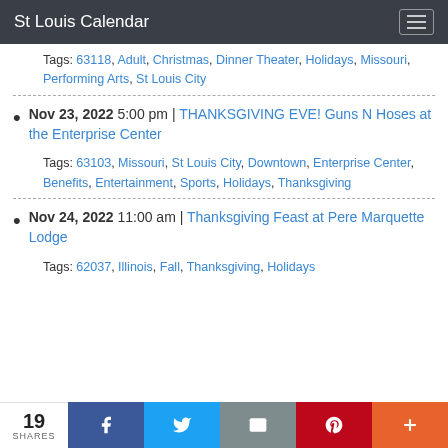St Louis Calendar
Tags: 63118, Adult, Christmas, Dinner Theater, Holidays, Missouri, Performing Arts, St Louis City
Nov 23, 2022 5:00 pm | THANKSGIVING EVE! Guns N Hoses at the Enterprise Center
Tags: 63103, Missouri, St Louis City, Downtown, Enterprise Center, Benefits, Entertainment, Sports, Holidays, Thanksgiving
Nov 24, 2022 11:00 am | Thanksgiving Feast at Pere Marquette Lodge
Tags: 62037, Illinois, Fall, Thanksgiving, Holidays
19 SHARES | Facebook | Twitter | Email | Pinterest | More